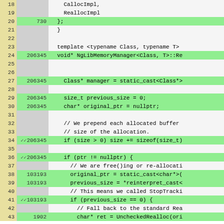[Figure (screenshot): Source code coverage viewer showing lines 18-43 of a C++ file implementing NgLibMemoryManager::Realloc. Left column shows line numbers, middle column shows execution counts (highlighted green for covered lines), right column shows source code. Green highlighting indicates covered lines. Lines shown include template class definition, memory management code with size_t and char* operations, and conditional logic.]